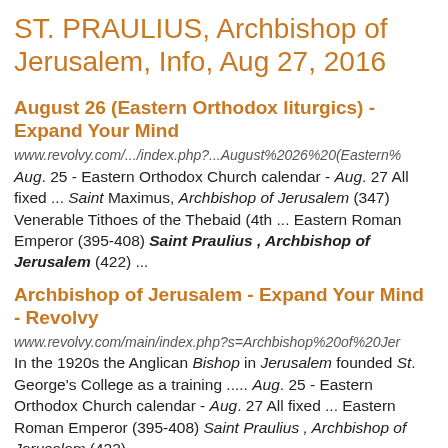ST. PRAULIUS, Archbishop of Jerusalem, Info, Aug 27, 2016
August 26 (Eastern Orthodox liturgics) - Expand Your Mind
www.revolvy.com/.../index.php?...August%2026%20(Eastern%
Aug. 25 - Eastern Orthodox Church calendar - Aug. 27 All fixed ... Saint Maximus, Archbishop of Jerusalem (347) Venerable Tithoes of the Thebaid (4th ... Eastern Roman Emperor (395-408) Saint Praulius , Archbishop of Jerusalem (422) ...
Archbishop of Jerusalem - Expand Your Mind - Revolvy
www.revolvy.com/main/index.php?s=Archbishop%20of%20Jer
In the 1920s the Anglican Bishop in Jerusalem founded St. George's College as a training ..... Aug. 25 - Eastern Orthodox Church calendar - Aug. 27 All fixed ... Eastern Roman Emperor (395-408) Saint Praulius , Archbishop of Jerusalem (422) ...